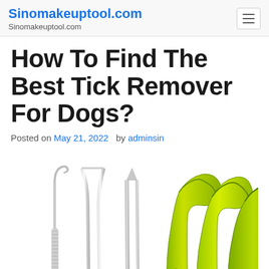Sinomakeuptool.com
Sinomakeuptool.com
How To Find The Best Tick Remover For Dogs?
Posted on May 21, 2022  by adminsin
[Figure (photo): Tick removal tools: three stainless steel instruments (hook, curved tweezers, flat tweezers) on the left, and three bright yellow-green plastic tick remover hooks on the right, all on white background]